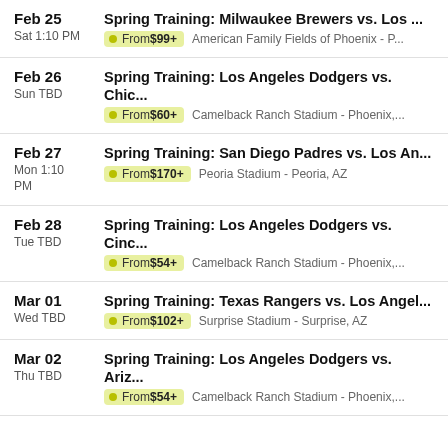Feb 25 | Sat 1:10 PM | Spring Training: Milwaukee Brewers vs. Los ... | From $99+ | American Family Fields of Phoenix - P...
Feb 26 | Sun TBD | Spring Training: Los Angeles Dodgers vs. Chic... | From $60+ | Camelback Ranch Stadium - Phoenix,...
Feb 27 | Mon 1:10 PM | Spring Training: San Diego Padres vs. Los An... | From $170+ | Peoria Stadium - Peoria, AZ
Feb 28 | Tue TBD | Spring Training: Los Angeles Dodgers vs. Cinc... | From $54+ | Camelback Ranch Stadium - Phoenix,...
Mar 01 | Wed TBD | Spring Training: Texas Rangers vs. Los Angel... | From $102+ | Surprise Stadium - Surprise, AZ
Mar 02 | Thu TBD | Spring Training: Los Angeles Dodgers vs. Ariz... | From $54+ | Camelback Ranch Stadium - Phoenix,...